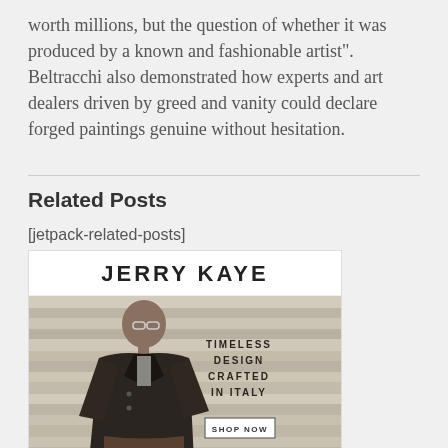worth millions, but the question of whether it was produced by a known and fashionable artist". Beltracchi also demonstrated how experts and art dealers driven by greed and vanity could declare forged paintings genuine without hesitation.
Related Posts
[jetpack-related-posts]
[Figure (advertisement): Jerry Kaye fashion advertisement showing a man in a black leather jacket seated against a white-washed wood plank wall background, with text 'TIMELESS DESIGN CRAFTED IN ITALY' and a 'SHOP NOW' button.]